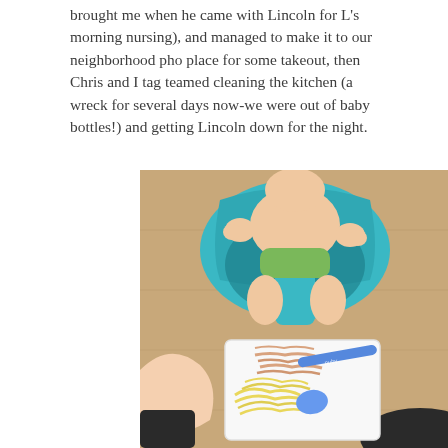brought me when he came with Lincoln for L's morning nursing), and managed to make it to our neighborhood pho place for some takeout, then Chris and I tag teamed cleaning the kitchen (a wreck for several days now-we were out of baby bottles!) and getting Lincoln down for the night.
[Figure (photo): Overhead photo of a baby sitting in a teal/blue Bumbo seat on a wooden floor, wearing only a diaper. Below the baby, an adult's hands hold a white square plate containing yellow spaghetti squash and shredded chicken with a blue baby spoon on top.]